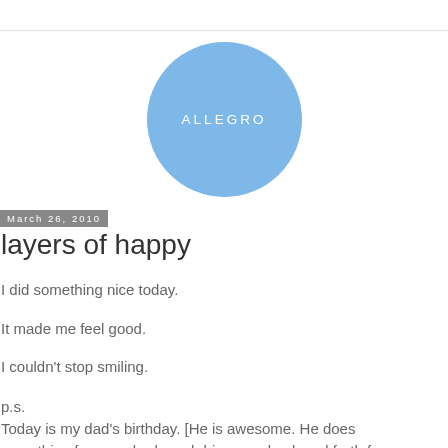[Figure (logo): Round light blue circle with white text reading ALLEGRO, centered at top of page]
March 26, 2010
layers of happy
I did something nice today.
It made me feel good.
I couldn't stop smiling.
p.s.
Today is my dad's birthday. [He is awesome. He does everything for everybody and drives me back and forth from